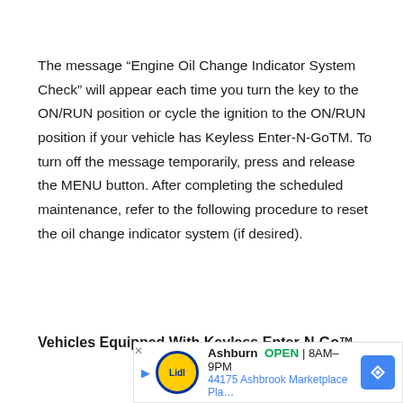The message “Engine Oil Change Indicator System Check” will appear each time you turn the key to the ON/RUN position or cycle the ignition to the ON/RUN position if your vehicle has Keyless Enter-N-GoTM. To turn off the message temporarily, press and release the MENU button. After completing the scheduled maintenance, refer to the following procedure to reset the oil change indicator system (if desired).
Vehicles Equipped With Keyless Enter-N-Go™
[Figure (other): Advertisement banner for Lidl store in Ashburn showing OPEN 8AM-9PM and address 44175 Ashbrook Marketplace Pla... with navigation arrow icon]